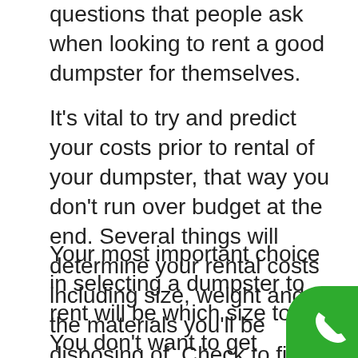questions that people ask when looking to rent a good dumpster for themselves.
It's vital to try and predict your costs prior to rental of your dumpster, that way you don't run over budget at the end. Several things will determine your rental costs including size, weight and the materials you'll be disposing of. Check to find out if there are any permit charges in Jackson that could increase your overall budget for your project.
Your most important choice in selecting a dumpster to rent will be which size to get. You don't want to get yourself in a position where you go over your weight capacity, so it's better to overestimate and have a little room left over, since you'll probably find more garbage to fill it up anyway. When renting a dumpster the most used sizes options you'll will be 10, 20, 30 and 40 cubic yards. To give